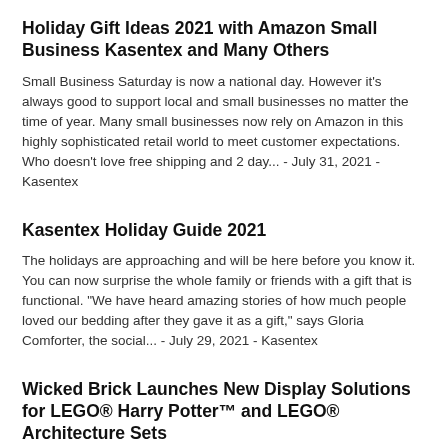Holiday Gift Ideas 2021 with Amazon Small Business Kasentex and Many Others
Small Business Saturday is now a national day. However it's always good to support local and small businesses no matter the time of year. Many small businesses now rely on Amazon in this highly sophisticated retail world to meet customer expectations. Who doesn't love free shipping and 2 day... - July 31, 2021 - Kasentex
Kasentex Holiday Guide 2021
The holidays are approaching and will be here before you know it. You can now surprise the whole family or friends with a gift that is functional. "We have heard amazing stories of how much people loved our bedding after they gave it as a gift," says Gloria Comforter, the social... - July 29, 2021 - Kasentex
Wicked Brick Launches New Display Solutions for LEGO® Harry Potter™ and LEGO® Architecture Sets